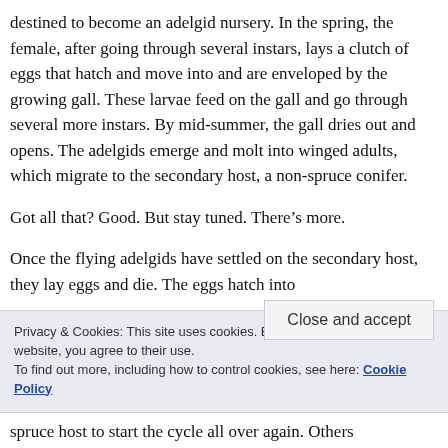destined to become an adelgid nursery. In the spring, the female, after going through several instars, lays a clutch of eggs that hatch and move into and are enveloped by the growing gall. These larvae feed on the gall and go through several more instars. By mid-summer, the gall dries out and opens. The adelgids emerge and molt into winged adults, which migrate to the secondary host, a non-spruce conifer.
Got all that? Good. But stay tuned. There's more.
Once the flying adelgids have settled on the secondary host, they lay eggs and die. The eggs hatch into
Privacy & Cookies: This site uses cookies. By continuing to use this website, you agree to their use. To find out more, including how to control cookies, see here: Cookie Policy
spruce host to start the cycle all over again. Others